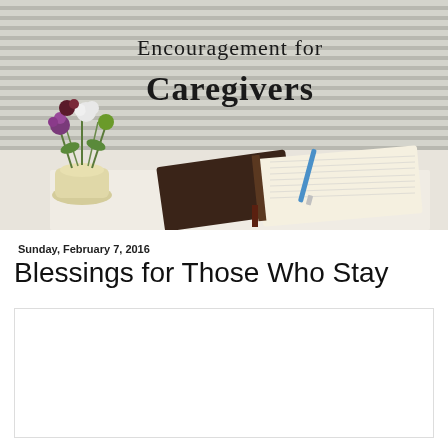[Figure (photo): Blog header image showing an open Bible with a pen on a white windowsill, with a white pitcher of flowers (purple, white, green) on the left, and horizontal blinds in the background. Text overlay reads 'Encouragement for Caregivers' in elegant serif font.]
Sunday, February 7, 2016
Blessings for Those Who Stay
[Figure (photo): Decorative image with text lines that appear to be scripture verses about God taking care of you, with floral decorative elements overlaid on aged paper background.]